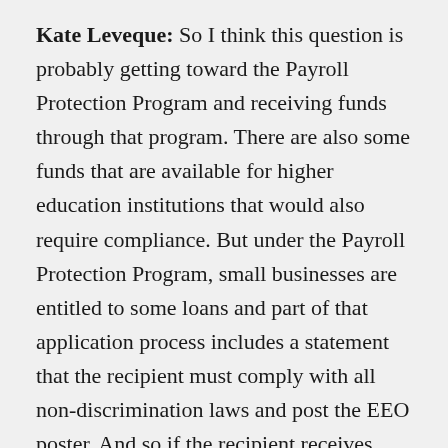Kate Leveque: So I think this question is probably getting toward the Payroll Protection Program and receiving funds through that program. There are also some funds that are available for higher education institutions that would also require compliance. But under the Payroll Protection Program, small businesses are entitled to some loans and part of that application process includes a statement that the recipient must comply with all non-discrimination laws and post the EEO poster. And so if the recipient receives those funds, they will be required to comply with Title VI, Title IX, the Age Discrimination in Employment Act...